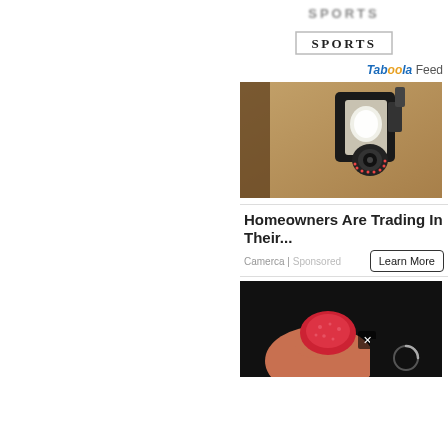[Figure (logo): Blurred SPORTS text logo]
[Figure (logo): SPORTS text logo with border]
Taboola Feed
[Figure (photo): Smart security camera mounted on a stone wall, looking like a light fixture]
Homeowners Are Trading In Their...
Camerca | Sponsored
[Figure (photo): Hand holding a red gummy candy against dark background, with video overlay and close button]